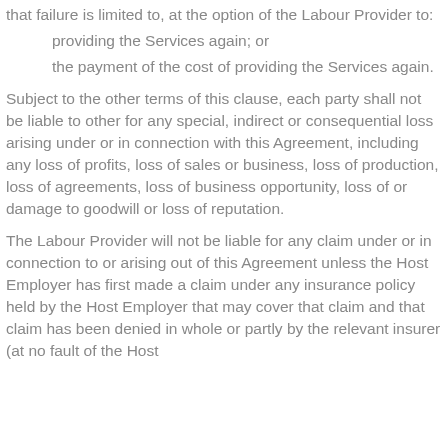that failure is limited to, at the option of the Labour Provider to:
providing the Services again; or
the payment of the cost of providing the Services again.
Subject to the other terms of this clause, each party shall not be liable to other for any special, indirect or consequential loss arising under or in connection with this Agreement, including any loss of profits, loss of sales or business, loss of production, loss of agreements, loss of business opportunity, loss of or damage to goodwill or loss of reputation.
The Labour Provider will not be liable for any claim under or in connection to or arising out of this Agreement unless the Host Employer has first made a claim under any insurance policy held by the Host Employer that may cover that claim and that claim has been denied in whole or partly by the relevant insurer (at no fault of the Host